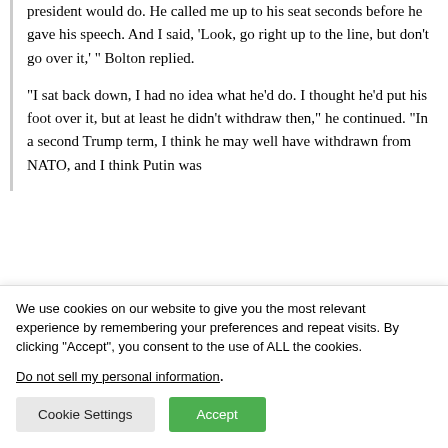president would do. He called me up to his seat seconds before he gave his speech. And I said, ‘Look, go right up to the line, but don’t go over it,’ ” Bolton replied.
“I sat back down, I had no idea what he’d do. I thought he’d put his foot over it, but at least he didn’t withdraw then,” he continued. “In a second Trump term, I think he may well have withdrawn from NATO, and I think Putin was
We use cookies on our website to give you the most relevant experience by remembering your preferences and repeat visits. By clicking “Accept”, you consent to the use of ALL the cookies.
Do not sell my personal information.